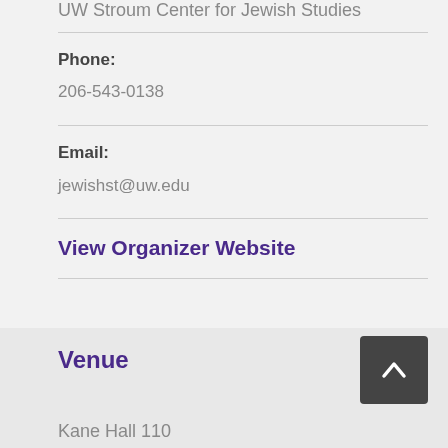UW Stroum Center for Jewish Studies
Phone:
206-543-0138
Email:
jewishst@uw.edu
View Organizer Website
Venue
Kane Hall 110